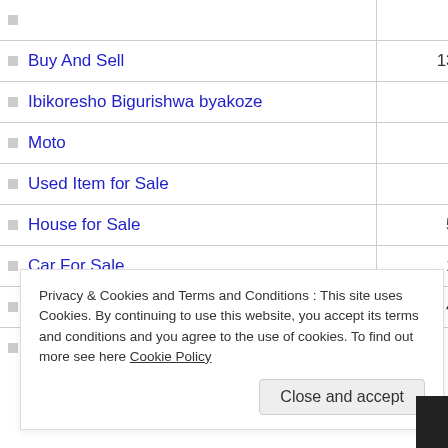| Category | Count |
| --- | --- |
| Buy And Sell | 136 |
| Ibikoresho Bigurishwa byakoze | 1 |
| Moto | 1 |
| Used Item for Sale | 4 |
| House for Sale | 55 |
| Car For Sale | 15 |
| Ibibanza Bigurishwa | 47 |
Privacy & Cookies and Terms and Conditions : This site uses Cookies. By continuing to use this website, you accept its terms and conditions and you agree to the use of cookies. To find out more see here Cookie Policy
Close and accept
Mahindra